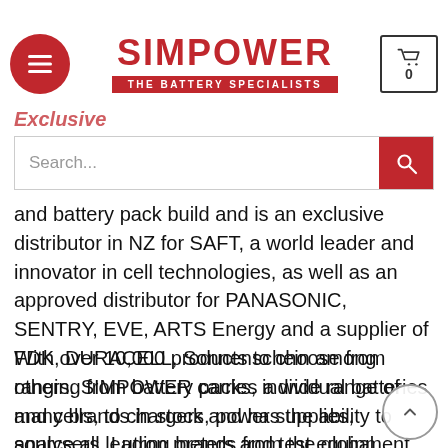SIMPOWER — THE BATTERY SPECIALISTS
and battery pack build and is an exclusive distributor in NZ for SAFT, a world leader and innovator in cell technologies, as well as an approved distributor for PANASONIC, SENTRY, EVE, ARTS Energy and a supplier of FDK, DURACELL, Sonnenschein among others. SIMPOWER carries a wide range of many brands in stock and has the ability to source all leading brands from the global market place.
With over 10,000 products to choose from ranging from battery packs, individual batteries and cells, to chargers, power supplies, analysers, Lutron meters and test equipment they have the widest range of battery products available in New Zealand. If they don't have it they can find it for you,